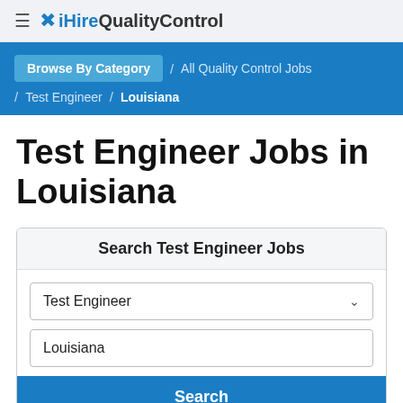≡ iHireQualityControl
Browse By Category / All Quality Control Jobs / Test Engineer / Louisiana
Test Engineer Jobs in Louisiana
Search Test Engineer Jobs
Test Engineer
Louisiana
Search